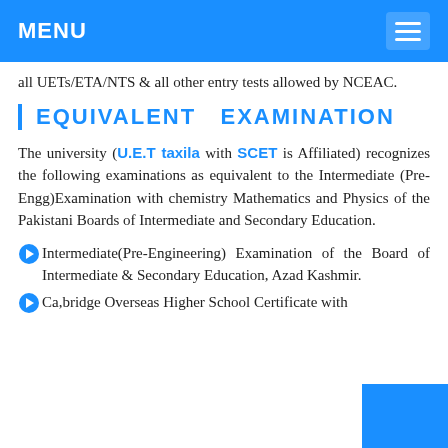MENU
all UETs/ETA/NTS & all other entry tests allowed by NCEAC.
EQUIVALENT  EXAMINATION
The university (U.E.T taxila with SCET is Affiliated) recognizes the following examinations as equivalent to the Intermediate (Pre-Engg)Examination with chemistry Mathematics and Physics of the Pakistani Boards of Intermediate and Secondary Education.
Intermediate(Pre-Engineering) Examination of the Board of Intermediate & Secondary Education, Azad Kashmir.
Ca,bridge Overseas Higher School Certificate with